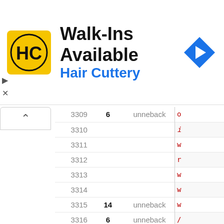[Figure (screenshot): Advertisement banner for Hair Cuttery showing logo, 'Walk-Ins Available' text, and a navigation arrow icon]
| line | val | type | code |
| --- | --- | --- | --- |
| 3309 | 6 | unneback | o… |
| 3310 |  |  | i… |
| 3311 |  |  | w… |
| 3312 |  |  | r… |
| 3313 |  |  | w… |
| 3314 |  |  | w… |
| 3315 | 14 | unneback | w… |
| 3316 | 6 | unneback | /… |
| 3317 |  |  | a… |
| 3318 |  |  |  |
| 3319 |  |  |  |
| 3320 |  |  |  |
| 3321 |  |  |  |
| 3322 |  |  |  |
| 3323 |  |  |  |
| 3324 |  |  |  |
| 3325 |  |  |  |